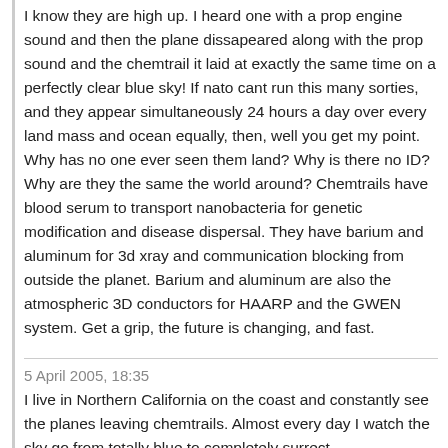I know they are high up. I heard one with a prop engine sound and then the plane dissapeared along with the prop sound and the chemtrail it laid at exactly the same time on a perfectly clear blue sky! If nato cant run this many sorties, and they appear simultaneously 24 hours a day over every land mass and ocean equally, then, well you get my point. Why has no one ever seen them land? Why is there no ID? Why are they the same the world around? Chemtrails have blood serum to transport nanobacteria for genetic modification and disease dispersal. They have barium and aluminum for 3d xray and communication blocking from outside the planet. Barium and aluminum are also the atmospheric 3D conductors for HAARP and the GWEN system. Get a grip, the future is changing, and fast.
5 April 2005, 18:35
I live in Northern California on the coast and constantly see the planes leaving chemtrails. Almost every day I watch the sky go from totally blue to completely surrect